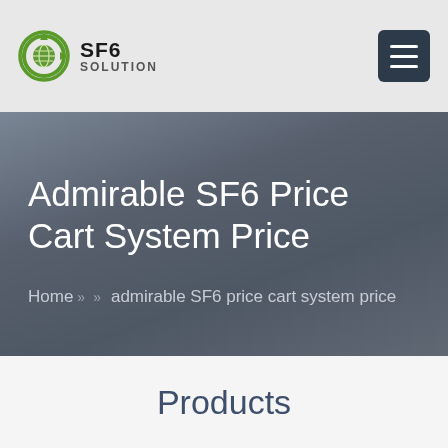SF6 SOLUTION
Admirable SF6 Price Cart System Price
Home >> >> admirable SF6 price cart system price
Products